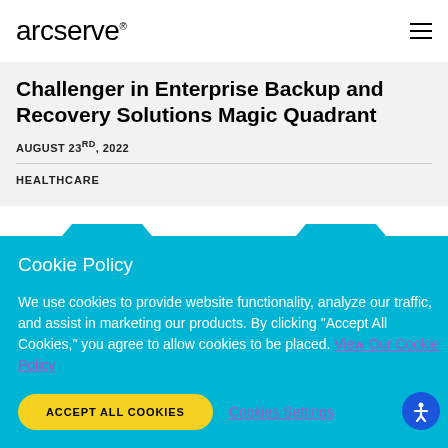arcserve
Challenger in Enterprise Backup and Recovery Solutions Magic Quadrant
AUGUST 23RD, 2022
HEALTHCARE
Cookie Policy
We use cookies to provide website functionality, analyze our traffic, and assist in marketing our products. By clicking "Accept All Cookies," you agree to allow cookies to be placed. View Our Cookie Policy
ACCEPT ALL COOKIES   Cookies Settings